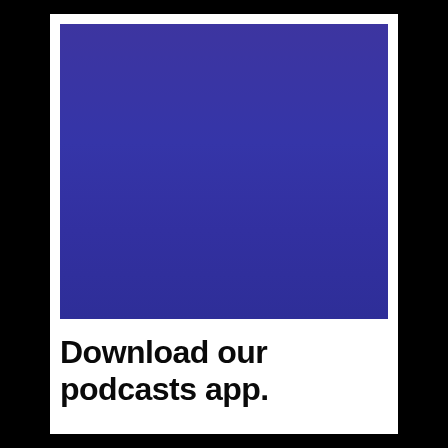[Figure (illustration): Large solid purple/indigo colored rectangle serving as an image placeholder or app screenshot background]
Download our podcasts app.